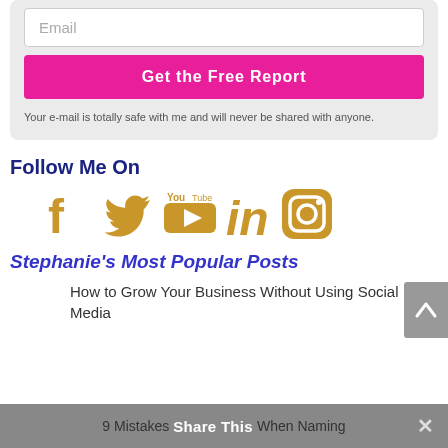[Figure (screenshot): Email input field with placeholder text 'Email']
[Figure (screenshot): Pink button labeled 'Get the Free Report']
Your e-mail is totally safe with me and will never be shared with anyone.
Follow Me On
[Figure (infographic): Social media icons: Facebook, Twitter, YouTube, LinkedIn, Instagram — all in gold/amber color]
Stephanie's Most Popular Posts
How to Grow Your Business Without Using Social Media
9 Mistakes Share This When Naming
Share This